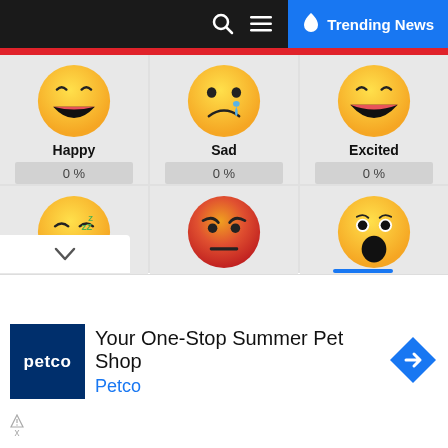Trending News
[Figure (infographic): Six emoji reaction faces in a 2x3 grid: Happy (laughing with pink mouth), Sad (tear drop), Excited (laughing with open mouth), Sleepy (ZZZ), Angry (red face frowning), Surprise (shocked open mouth). Each shows 0% below.]
Happy 0%
Sad 0%
Excited 0%
Sleepy 0%
Angry 0%
Surprise 0%
[Figure (photo): Advertisement: Petco logo (dark blue square with 'petco' text), headline 'Your One-Stop Summer Pet Shop', subtext 'Petco' in blue, with a blue diamond direction arrow icon.]